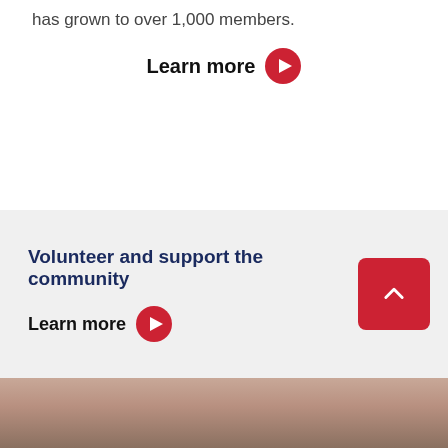has grown to over 1,000 members.
Learn more
Volunteer and support the community
Learn more
[Figure (photo): Partial view of a person's face/head, cropped at the bottom of the page]